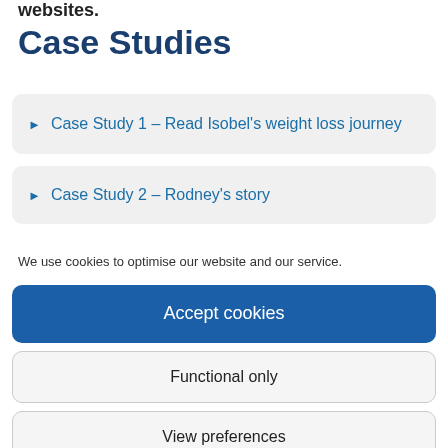websites.
Case Studies
▶ Case Study 1 – Read Isobel's weight loss journey
▶ Case Study 2 – Rodney's story
We use cookies to optimise our website and our service.
Accept cookies
Functional only
View preferences
Cookie Policy